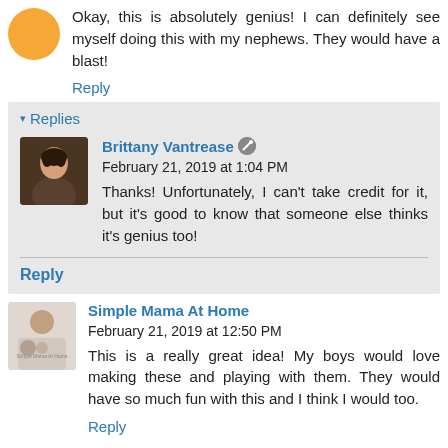Okay, this is absolutely genius! I can definitely see myself doing this with my nephews. They would have a blast!
Reply
Replies
Brittany Vantrease  February 21, 2019 at 1:04 PM
Thanks! Unfortunately, I can't take credit for it, but it's good to know that someone else thinks it's genius too!
Reply
Simple Mama At Home  February 21, 2019 at 12:50 PM
This is a really great idea! My boys would love making these and playing with them. They would have so much fun with this and I think I would too.
Reply